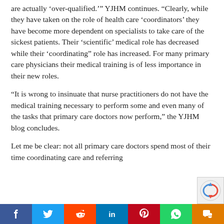are actually ‘over-qualified.’” YJHM continues. “Clearly, while they have taken on the role of health care ‘coordinators’ they have become more dependent on specialists to take care of the sickest patients. Their ‘scientific’ medical role has decreased while their ‘coordinating” role has increased. For many primary care physicians their medical training is of less importance in their new roles.
“It is wrong to insinuate that nurse practitioners do not have the medical training necessary to perform some and even many of the tasks that primary care doctors now perform,” the YJHM blog concludes.
Let me be clear: not all primary care doctors spend most of their time coordinating care and referring